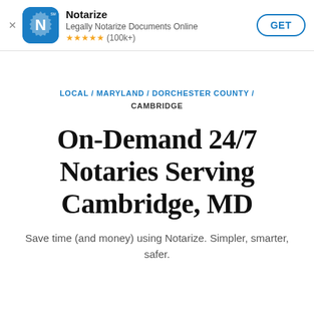[Figure (screenshot): App store banner for Notarize app with icon, name, description, star rating (100k+), and GET button]
LOCAL / MARYLAND / DORCHESTER COUNTY / CAMBRIDGE
On-Demand 24/7 Notaries Serving Cambridge, MD
Save time (and money) using Notarize. Simpler, smarter, safer.